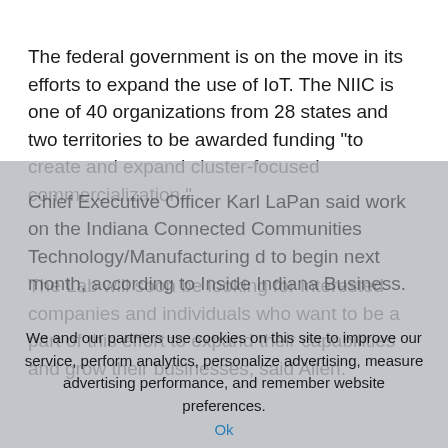The federal government is on the move in its efforts to expand the use of IoT. The NIIC is one of 40 organizations from 28 states and two territories to be awarded funding “to create and expand cluster-focused commercialization.”
The Lab will soon be looking for interested companies and individuals who want to be a part of this effort to expand their capabilities and grow their businesses, said Allen.
Chief Executive Officer Karl LaPan said work on the Indiana Connected Communities Technology/Manufacturing d to begin next month, according to Inside Indiana Business.
We and our partners use cookies on this site to improve our service, perform analytics, personalize advertising, measure advertising performance, and remember website preferences.
Ok